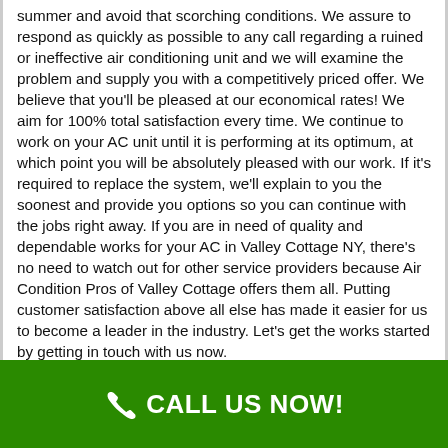summer and avoid that scorching conditions. We assure to respond as quickly as possible to any call regarding a ruined or ineffective air conditioning unit and we will examine the problem and supply you with a competitively priced offer. We believe that you'll be pleased at our economical rates! We aim for 100% total satisfaction every time. We continue to work on your AC unit until it is performing at its optimum, at which point you will be absolutely pleased with our work. If it's required to replace the system, we'll explain to you the soonest and provide you options so you can continue with the jobs right away. If you are in need of quality and dependable works for your AC in Valley Cottage NY, there's no need to watch out for other service providers because Air Condition Pros of Valley Cottage offers them all. Putting customer satisfaction above all else has made it easier for us to become a leader in the industry. Let's get the works started by getting in touch with us now.
CALL US NOW!